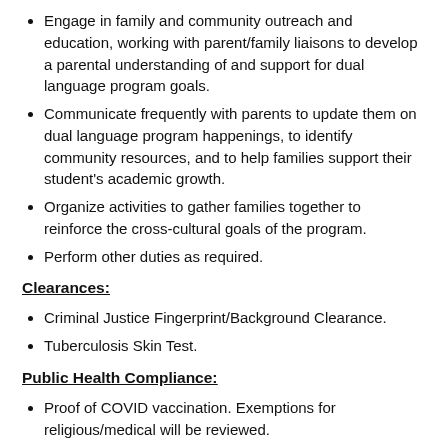Engage in family and community outreach and education, working with parent/family liaisons to develop a parental understanding of and support for dual language program goals.
Communicate frequently with parents to update them on dual language program happenings, to identify community resources, and to help families support their student's academic growth.
Organize activities to gather families together to reinforce the cross-cultural goals of the program.
Perform other duties as required.
Clearances:
Criminal Justice Fingerprint/Background Clearance.
Tuberculosis Skin Test.
Public Health Compliance:
Proof of COVID vaccination. Exemptions for religious/medical will be reviewed.
Must follow safety and health protocols.